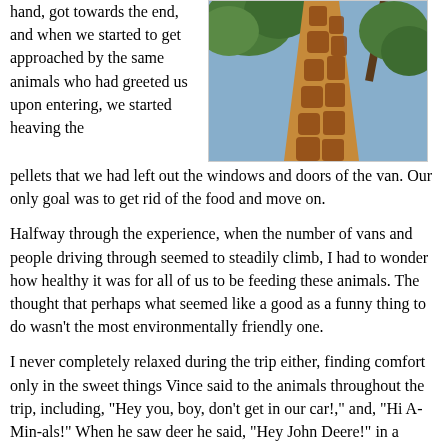hand, got towards the end, and when we started to get approached by the same animals who had greeted us upon entering, we started heaving the pellets that we had left out the windows and doors of the van. Our only goal was to get rid of the food and move on.
[Figure (photo): Close-up photo of a giraffe's neck and head from below, with trees and blue sky in the background.]
Halfway through the experience, when the number of vans and people driving through seemed to steadily climb, I had to wonder how healthy it was for all of us to be feeding these animals. The thought that perhaps what seemed like a good as a funny thing to do wasn't the most environmentally friendly one.
I never completely relaxed during the trip either, finding comfort only in the sweet things Vince said to the animals throughout the trip, including, "Hey you, boy, don't get in our car!," and, "Hi A-Min-als!" When he saw deer he said, "Hey John Deere!" in a friendly voice, but he appeared to like the